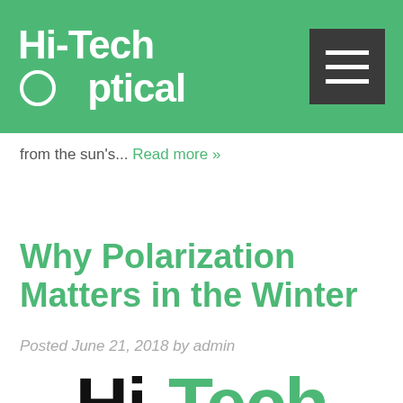Hi-Tech Optical
from the sun's... Read more »
Why Polarization Matters in the Winter
Posted June 21, 2018 by admin
[Figure (logo): Hi-Tech Optical logo, large black and green text, partially cropped at bottom of page]